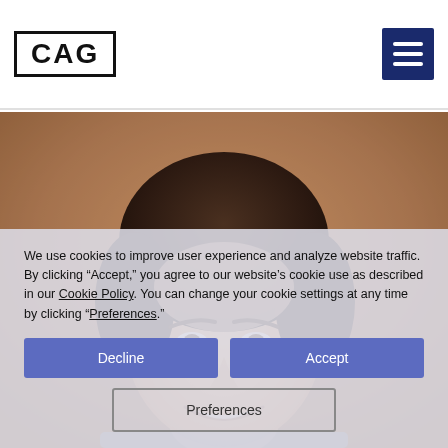[Figure (logo): CAG logo — bold text inside a rectangular border]
[Figure (illustration): Hamburger menu icon — three white horizontal lines on dark navy blue square background]
[Figure (photo): Headshot photo of a smiling person with dark hair, warm background tones]
We use cookies to improve user experience and analyze website traffic. By clicking “Accept,” you agree to our website’s cookie use as described in our Cookie Policy. You can change your cookie settings at any time by clicking “Preferences.”
Decline
Accept
Preferences